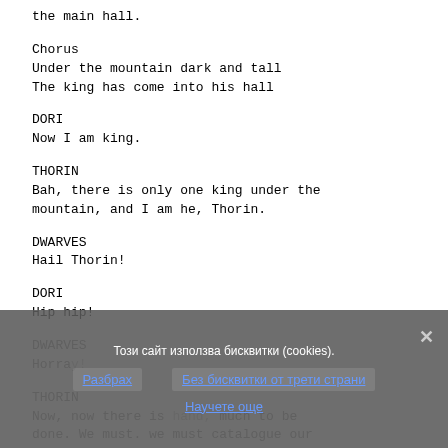the main hall.
Chorus
Under the mountain dark and tall
The king has come into his hall
DORI
Now I am king.
THORIN
Bah, there is only one king under the mountain, and I am he, Thorin.
DWARVES
Hail Thorin!
DORI
Hip hip!
DWARVES
Horray!
THORIN
Now, now there is hand, much to be done. We must. we must catalogue our
Този сайт използва бисквитки (cookies).
Разбрах    Без бисквитки от трети страни
Научете още